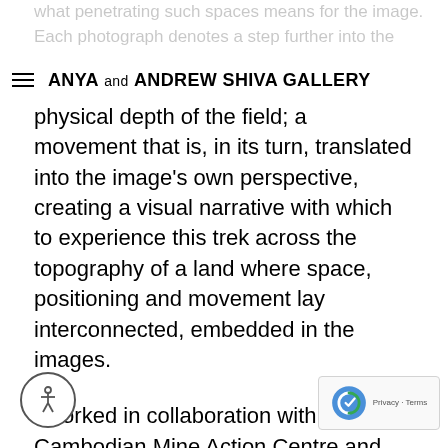ANYA and ANDREW SHIVA GALLERY
physical depth of the field; a movement that is, in its turn, translated into the image's own perspective, creating a visual narrative with which to experience this trek across the topography of a land where space, positioning and movement lay interconnected, embedded in the images.
I worked in collaboration with the Cambodian Mine Action Centre and Victim Assistance Authority, the governmental organization in Cambodia that is in charge of the national demining program.
The second series from the research looks into mine contamination in Colombia. I travelled to affected areas in Antioquia, around Medellín, regions once dominated by the FARC, who would